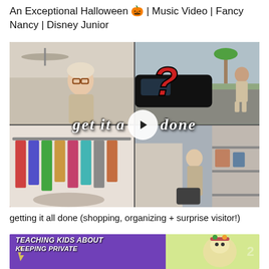An Exceptional Halloween 🎃 | Music Video | Fancy Nancy | Disney Junior
[Figure (screenshot): Video thumbnail showing a collage of four images: top-left a woman with glasses and blonde hair, top-right a man standing outside near cars with a red question mark overlay, bottom-left colorful clothing on racks, bottom-right a woman near storage. Text overlay reads 'get it all done' with a play button circle in the center.]
getting it all done (shopping, organizing + surprise visitor!)
[Figure (screenshot): Partial video thumbnail with purple background showing text 'TEACHING KIDS ABOUT' and partially visible 'KEEPING PRIVATE' with an animated character visible on the right side.]